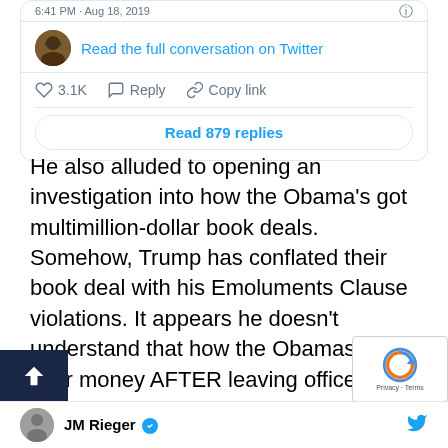[Figure (screenshot): Twitter/X embed card showing a tweet with profile avatar, 'Read the full conversation on Twitter' link, like count 3.1K, Reply, Copy link actions, and 'Read 879 replies' button]
He also alluded to opening an investigation into how the Obama's got multimillion-dollar book deals.  Somehow, Trump has conflated their book deal with his Emoluments Clause violations. It appears he doesn't understand that how the Obamas make their money AFTER leaving office is not a conflict of interest.
JM Rieger